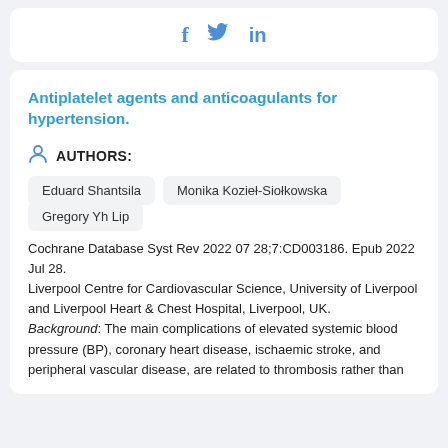[Figure (other): Social media share icons: Facebook (f), Twitter (bird), LinkedIn (in) in blue]
Antiplatelet agents and anticoagulants for hypertension.
AUTHORS:
Eduard Shantsila
Monika Kozieł-Siołkowska
Gregory Yh Lip
Cochrane Database Syst Rev 2022 07 28;7:CD003186. Epub 2022 Jul 28.
Liverpool Centre for Cardiovascular Science, University of Liverpool and Liverpool Heart & Chest Hospital, Liverpool, UK.
Background: The main complications of elevated systemic blood pressure (BP), coronary heart disease, ischaemic stroke, and peripheral vascular disease, are related to thrombosis rather than